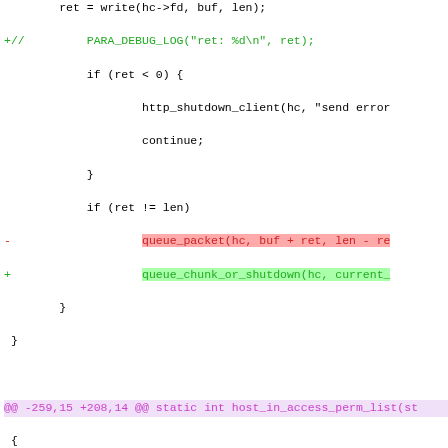[Figure (screenshot): A git diff / patch view of C source code showing added and removed lines with color highlighting. Green lines are additions (+), red lines are deletions (-), purple lines are hunk headers (@@). Two highlighted inline spans show a removed call to queue_packet (red background) and added call to queue_chunk_or_shutdown (green background).]